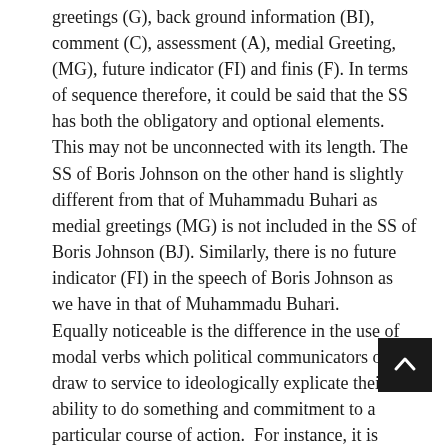greetings (G), back ground information (BI), comment (C), assessment (A), medial Greeting, (MG), future indicator (FI) and finis (F). In terms of sequence therefore, it could be said that the SS has both the obligatory and optional elements. This may not be unconnected with its length. The SS of Boris Johnson on the other hand is slightly different from that of Muhammadu Buhari as medial greetings (MG) is not included in the SS of Boris Johnson (BJ). Similarly, there is no future indicator (FI) in the speech of Boris Johnson as we have in that of Muhammadu Buhari.
Equally noticeable is the difference in the use of modal verbs which political communicators often draw to service to ideologically explicate their ability to do something and commitment to a particular course of action.  For instance, it is obvious from the analysis of the two speeches that PMB used more of the modal verbs as transitivity process to assure the citizens of Nigeria that